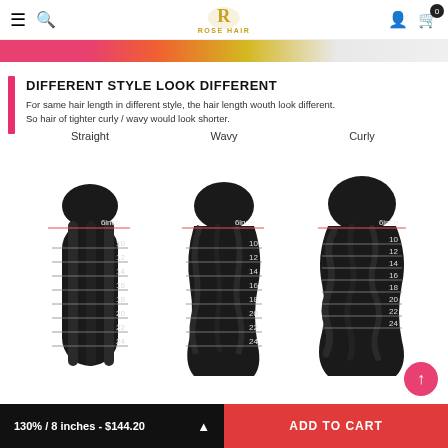ROSE HAIR - Navigation header with menu, search, logo, account and cart (0 items)
[Figure (photo): Colorful banner strip showing women with different hair styles — pink, orange, yellow background colors]
DIFFERENT STYLE LOOK DIFFERENT
For same hair length in different style, the hair length wouth look different. So hair of tighter curly / wavy would look shorter.
[Figure (infographic): Hair length comparison diagram showing three styles — Straight, Wavy, and Curly — each with measurement lines at 6inch, 10, 12, 14, 16, 18, 20, 22, 24 inches]
130% / 8 inches - $144.20   ADD TO CART